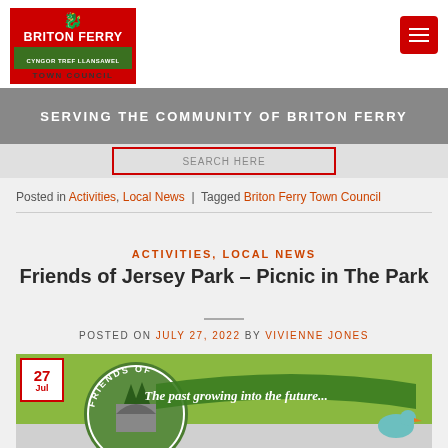Posted by Josh Fulcher and Bethany Morgan 26/07/2022 https://www.google.com/search? ...=sa1+&2upSaqs=chrome.69i57j0i390l...
[Figure (logo): Briton Ferry Town Council logo - red background with Welsh dragon, green bar with CYNGOR TREF LLANSAWEL text]
SERVING THE COMMUNITY OF BRITON FERRY
Posted in Activities, Local News | Tagged Briton Ferry Town Council
ACTIVITIES, LOCAL NEWS
Friends of Jersey Park – Picnic in The Park
POSTED ON JULY 27, 2022 BY VIVIENNE JONES
[Figure (illustration): Friends of Jersey Park banner image with green background, circular logo with stone arch and trees, curved green ribbon banner with text 'The past growing into the future...' and date badge showing 27 Jul]